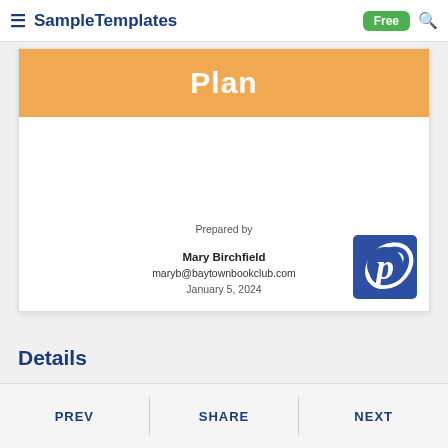SampleTemplates — Free
[Figure (screenshot): Document cover page preview showing orange header band with 'Plan' text, Prepared by section with Mary Birchfield, maryb@baytownbookclub.com, January 5, 2024, and Pinterest logo in bottom right corner]
Details
PREV   SHARE   NEXT